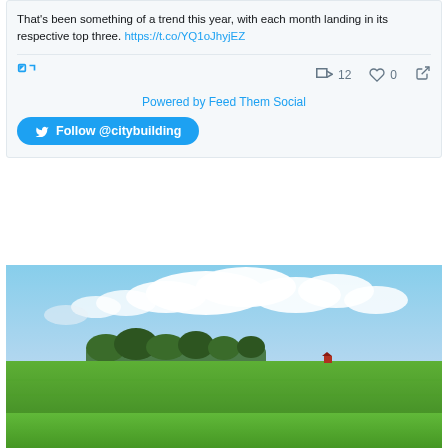That's been something of a trend this year, with each month landing in its respective top three. https://t.co/YQ1oJhyjEZ
Retweet 12  Like 0  Share
Powered by Feed Them Social
Follow @citybuilding
[Figure (photo): A wide green farm field under a blue sky with white clouds, with a line of trees on the horizon and a small red structure visible in the distance]